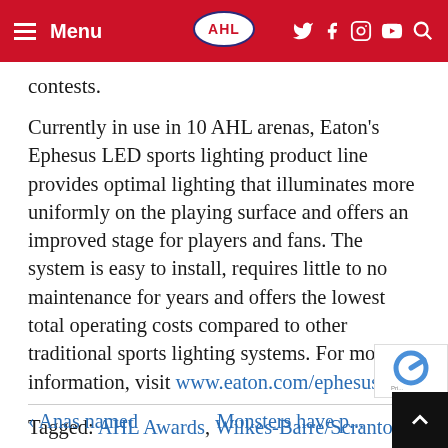Menu | AHL | [social icons]
contests.
Currently in use in 10 AHL arenas, Eaton's Ephesus LED sports lighting product line provides optimal lighting that illuminates more uniformly on the playing surface and offers an improved stage for players and fans. The system is easy to install, requires little to no maintenance for years and offers the lowest total operating costs compared to other traditional sports lighting systems. For more information, visit www.eaton.com/ephesus.
Tagged: AHL Awards, Wilkes-Barre/Scranton Penguins
< Anas named
Monsters have p...